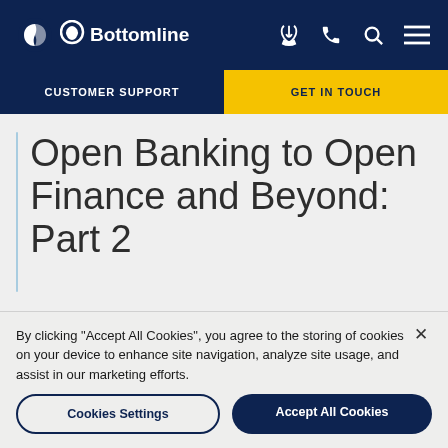Bottomline — CUSTOMER SUPPORT | GET IN TOUCH
Open Banking to Open Finance and Beyond: Part 2
By clicking “Accept All Cookies”, you agree to the storing of cookies on your device to enhance site navigation, analyze site usage, and assist in our marketing efforts.
Cookies Settings | Accept All Cookies